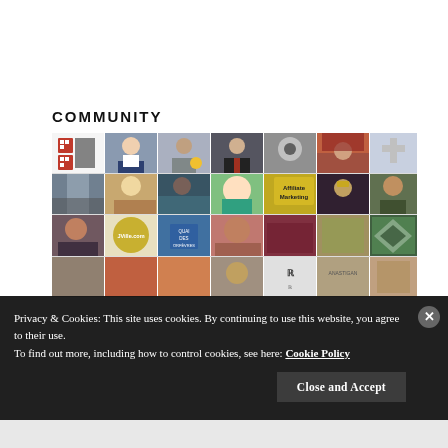COMMUNITY
[Figure (photo): A mosaic grid of community member photos and profile images, including portraits, illustrations, logos, and themed images arranged in a 7-column by 4-row grid.]
Privacy & Cookies: This site uses cookies. By continuing to use this website, you agree to their use.
To find out more, including how to control cookies, see here: Cookie Policy
Close and Accept